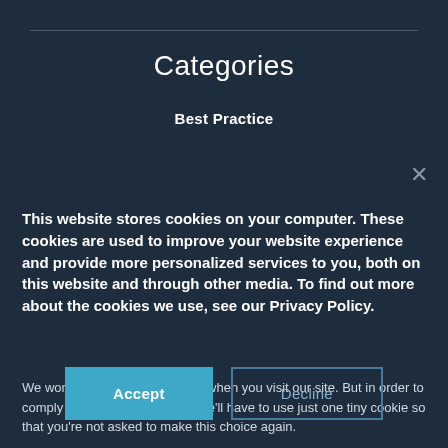Categories
Best Practice
This website stores cookies on your computer. These cookies are used to improve your website experience and provide more personalized services to you, both on this website and through other media. To find out more about the cookies we use, see our Privacy Policy.
We won't track your information when you visit our site. But in order to comply with your preferences, we'll have to use just one tiny cookie so that you're not asked to make this choice again.